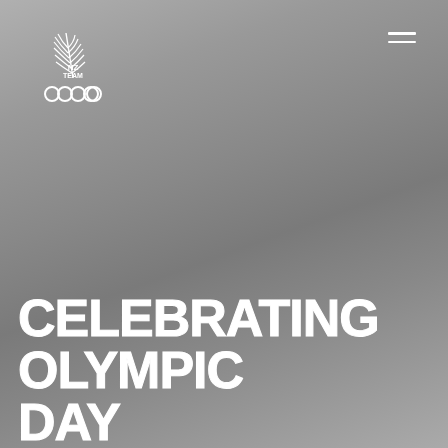[Figure (logo): NZ Team Olympic logo — silver fern above the text NZ TEAM with five Olympic rings below, all in white on grey background]
CELEBRATING OLYMPIC DAY